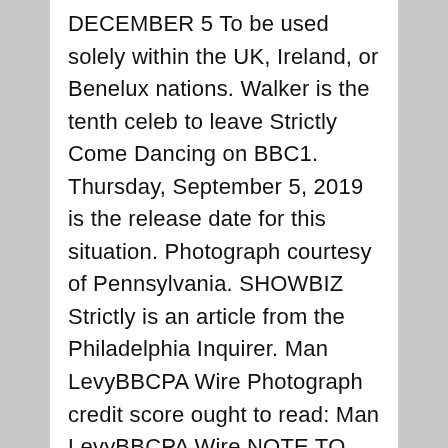DECEMBER 5 To be used solely within the UK, Ireland, or Benelux nations. Walker is the tenth celeb to leave Strictly Come Dancing on BBC1. Thursday, September 5, 2019 is the release date for this situation. Photograph courtesy of Pennsylvania. SHOWBIZ Strictly is an article from the Philadelphia Inquirer. Man LevyBBCPA Wire Photograph credit score ought to read: Man LevyBBCPA Wire NOTE TO EDITORS: Not to be used after 21 days. Inside 21 days of situation, you may use this image freed from charge solely to publicize or report on present BBC programming, personnel, or different BBC output or activity. After that time, any use of the image should